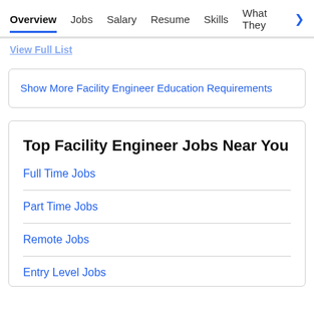Overview  Jobs  Salary  Resume  Skills  What They >
View Full List
Show More Facility Engineer Education Requirements
Top Facility Engineer Jobs Near You
Full Time Jobs
Part Time Jobs
Remote Jobs
Entry Level Jobs